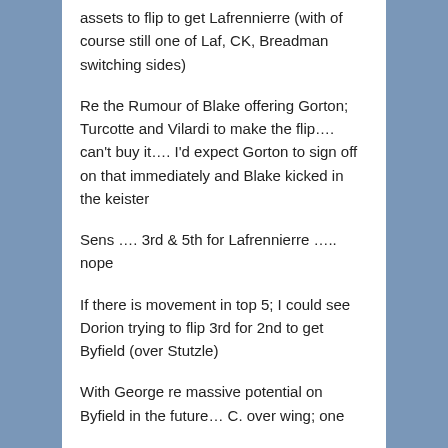assets to flip to get Lafrennierre (with of course still one of Laf, CK, Breadman switching sides)
Re the Rumour of Blake offering Gorton; Turcotte and Vilardi to make the flip…. can't buy it…. I'd expect Gorton to sign off on that immediately and Blake kicked in the keister
Sens …. 3rd & 5th for Lafrennierre ….. nope
If there is movement in top 5; I could see Dorion trying to flip 3rd for 2nd to get Byfield (over Stutzle)
With George re massive potential on Byfield in the future… C. over wing; one